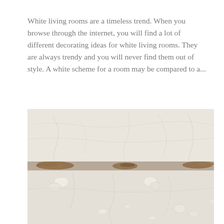White living rooms are a timeless trend. When you browse through the internet, you will find a lot of different decorating ideas for white living rooms. They are always trendy and you will never find them out of style. A white scheme for a room may be compared to a...
[Figure (photo): Close-up photograph of a cracked and peeling white painted wall surface, showing flaking paint and exposed brown/rust-colored substrate along a horizontal crack line running across the middle of the image.]